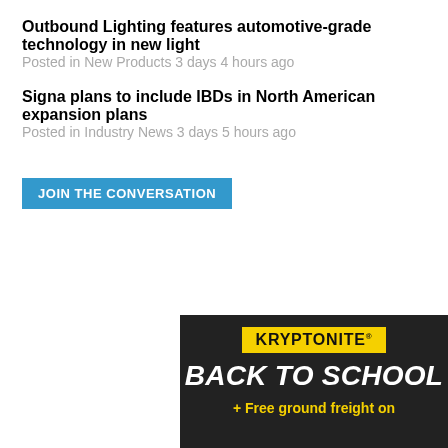Outbound Lighting features automotive-grade technology in new light
Posted in New Products 3 days 4 hours ago
Signa plans to include IBDs in North American expansion plans
Posted in Industry News 3 days 5 hours ago
JOIN THE CONVERSATION
[Figure (other): Kryptonite Back To School advertisement banner with yellow logo badge on dark background, text reads: KRYPTONITE, BACK TO SCHOOL, + Free ground freight on]